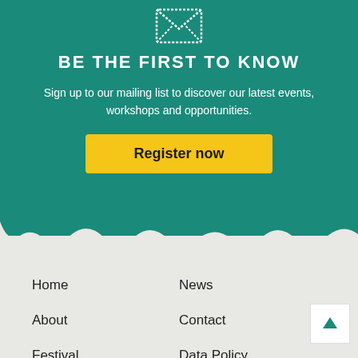[Figure (illustration): Envelope icon outline in white on teal background]
BE THE FIRST TO KNOW
Sign up to our mailing list to discover our latest events, workshops and opportunities.
Register now
Home
News
About
Contact
Festival
Data Policy
Festival archi...
DONATE